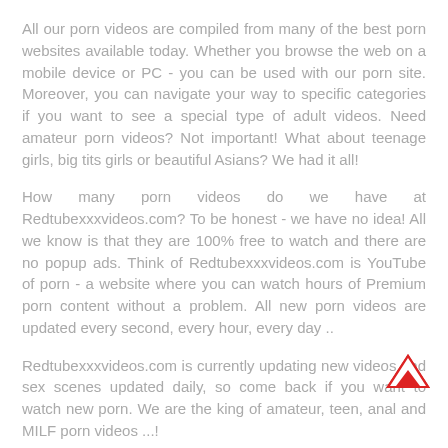All our porn videos are compiled from many of the best porn websites available today. Whether you browse the web on a mobile device or PC - you can be used with our porn site. Moreover, you can navigate your way to specific categories if you want to see a special type of adult videos. Need amateur porn videos? Not important! What about teenage girls, big tits girls or beautiful Asians? We had it all!
How many porn videos do we have at Redtubexxxvideos.com? To be honest - we have no idea! All we know is that they are 100% free to watch and there are no popup ads. Think of Redtubexxxvideos.com is YouTube of porn - a website where you can watch hours of Premium porn content without a problem. All new porn videos are updated every second, every hour, every day ..
Redtubexxxvideos.com is currently updating new videos and sex scenes updated daily, so come back if you want to watch new porn. We are the king of amateur, teen, anal and MILF porn videos ...!
What are you waiting for? Check out our great network of sex clips at Redtubexxxvideos.com and it will definitely give you a happy